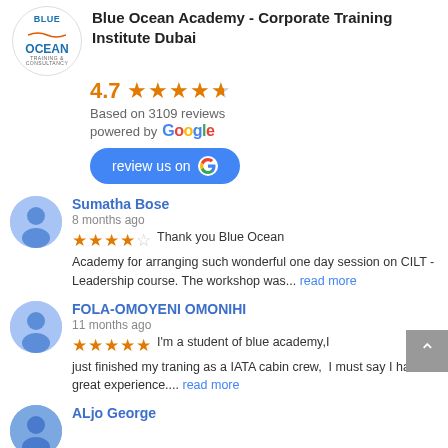Blue Ocean Academy - Corporate Training Institute Dubai
4.7 ★★★★½
Based on 3109 reviews
powered by Google
review us on G
Sumatha Bose
8 months ago
★★★★☆ Thank you Blue Ocean Academy for arranging such wonderful one day session on CILT -Leadership course. The workshop was... read more
FOLA-OMOYENI OMONIHI
11 months ago
★★★★★ I'm a student of blue academy,I just finished my traning as a IATA cabin crew,  I must say I had a great experience.... read more
ALjo George